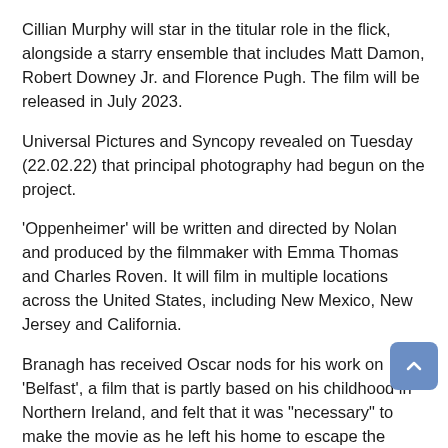Cillian Murphy will star in the titular role in the flick, alongside a starry ensemble that includes Matt Damon, Robert Downey Jr. and Florence Pugh. The film will be released in July 2023.
Universal Pictures and Syncopy revealed on Tuesday (22.02.22) that principal photography had begun on the project.
'Oppenheimer' will be written and directed by Nolan and produced by the filmmaker with Emma Thomas and Charles Roven. It will film in multiple locations across the United States, including New Mexico, New Jersey and California.
Branagh has received Oscar nods for his work on 'Belfast', a film that is partly based on his childhood in Northern Ireland, and felt that it was "necessary" to make the movie as he left his home to escape the Troubles.
The 'Death on the Nile' director said: "I didn't set out for it to be sort of public therapy, but I felt that it was necessary to write. Nobody in the family had spoken about these difficult times, even though I wrote about it then. Family never spoke about what riots were like on the wrench of leaving.